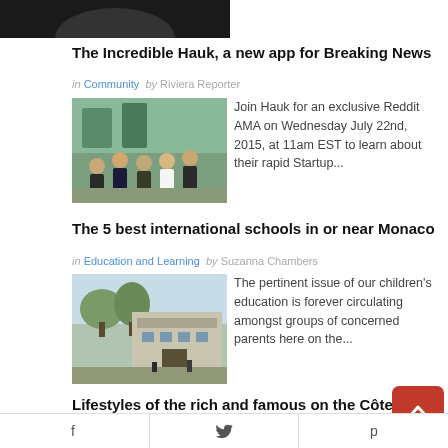[Figure (photo): Partial dark image at top of page, cropped]
The Incredible Hauk, a new app for Breaking News
in Community by Riviera Reporter
[Figure (photo): Group of people standing together outdoors]
Join Hauk for an exclusive Reddit AMA on Wednesday July 22nd, 2015, at 11am EST to learn about their rapid Startup...
The 5 best international schools in or near Monaco
in Education and Learning by Suzanna Chambers
[Figure (photo): Building exterior with trees, school campus]
The pertinent issue of our children's education is forever circulating amongst groups of concerned parents here on the...
Lifestyles of the rich and famous on the Côte d'Az
who cares?